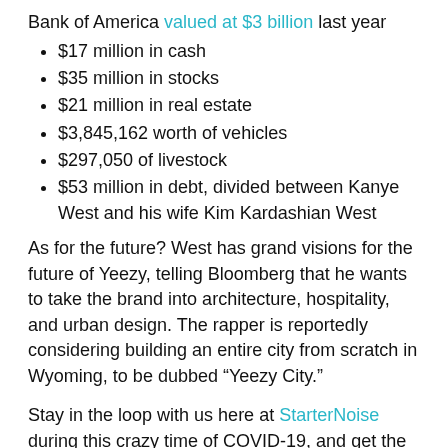Bank of America valued at $3 billion last year
$17 million in cash
$35 million in stocks
$21 million in real estate
$3,845,162 worth of vehicles
$297,050 of livestock
$53 million in debt, divided between Kanye West and his wife Kim Kardashian West
As for the future? West has grand visions for the future of Yeezy, telling Bloomberg that he wants to take the brand into architecture, hospitality, and urban design. The rapper is reportedly considering building an entire city from scratch in Wyoming, to be dubbed “Yeezy City.”
Stay in the loop with us here at StarterNoise during this crazy time of COVID-19, and get the scoop on the big things, follow us on Twitter.